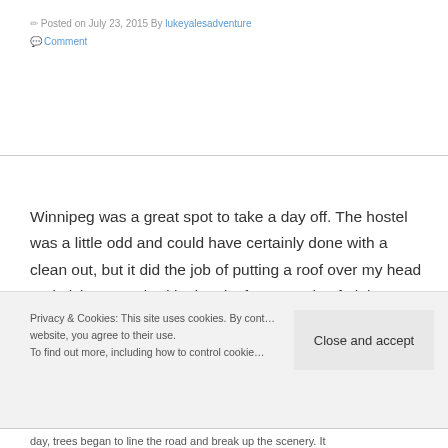Posted on July 23, 2015 By lukeyalesadventure
Comment
Winnipeg was a great spot to take a day off. The hostel was a little odd and could have certainly done with a clean out, but it did the job of putting a roof over my head and giving me a bed in the city for a couple of nights. I had a few jobs that I needed to get done in the city and supplies to pick up. I also was able to have a very long and relaxed brunch and
Privacy & Cookies: This site uses cookies. By cont… website, you agree to their use.
To find out more, including how to control cookie…
Close and accept
day, trees began to line the road and break up the scenery. It